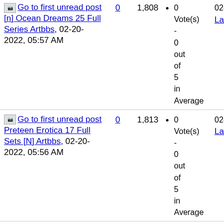[n] Ocean Dreams 25 Full Series Artbbs, 02-20-2022, 05:57 AM — 0 replies, 1,808 views, 0 Vote(s) - 0 out of 5 in Average, 02-20-20... La...
Preteen Erotica 17 Full Sets [N] Artbbs, 02-20-2022, 05:56 AM — 0 replies, 1,813 views, 0 Vote(s) - 0 out of 5 in Average, 02-20-20... La...
[n] Lolitas Land 52 Exclusive Sets — 0 replies, 1,774 views, 0 Vote(s) 0 out of... 02-20-20... La...